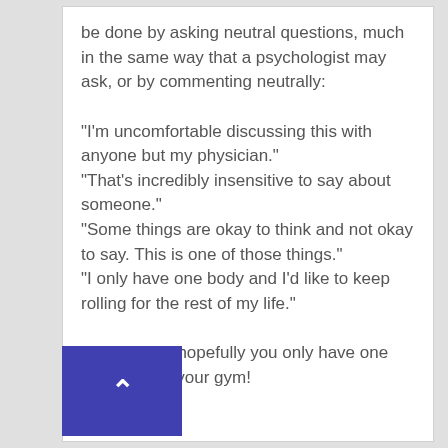be done by asking neutral questions, much in the same way that a psychologist may ask, or by commenting neutrally:

"I'm uncomfortable discussing this with anyone but my physician."
"That's incredibly insensitive to say about someone."
"Some things are okay to think and not okay to say. This is one of those things."
"I only have one body and I'd like to keep rolling for the rest of my life."

In any case, hopefully you only have one "that guy" in your gym!